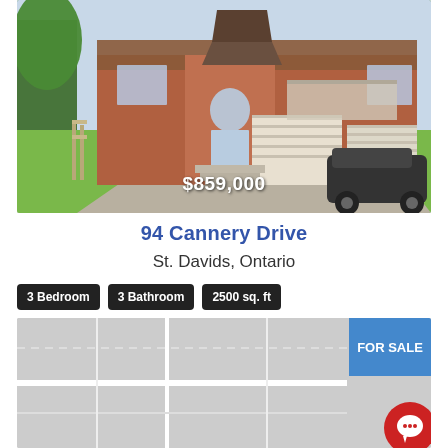[Figure (photo): Exterior photo of a brick townhouse/semi-detached home with white garage doors, green lawn, and a black SUV in the driveway. Price overlay '$859,000' displayed at bottom center of image.]
94 Cannery Drive
St. Davids, Ontario
3 Bedroom
3 Bathroom
2500 sq. ft
[Figure (map): Gray map area showing property location with a 'FOR SALE' blue banner overlay and a red circular chat/message button in the bottom-right corner.]